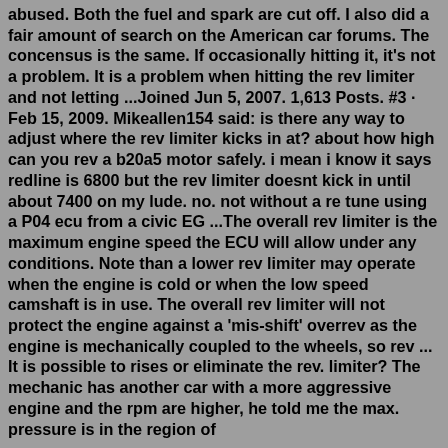abused. Both the fuel and spark are cut off. I also did a fair amount of search on the American car forums. The concensus is the same. If occasionally hitting it, it's not a problem. It is a problem when hitting the rev limiter and not letting ...Joined Jun 5, 2007. 1,613 Posts. #3 · Feb 15, 2009. Mikeallen154 said: is there any way to adjust where the rev limiter kicks in at? about how high can you rev a b20a5 motor safely. i mean i know it says redline is 6800 but the rev limiter doesnt kick in until about 7400 on my lude. no. not without a re tune using a P04 ecu from a civic EG ...The overall rev limiter is the maximum engine speed the ECU will allow under any conditions. Note than a lower rev limiter may operate when the engine is cold or when the low speed camshaft is in use. The overall rev limiter will not protect the engine against a 'mis-shift' overrev as the engine is mechanically coupled to the wheels, so rev ... It is possible to rises or eliminate the rev. limiter? The mechanic has another car with a more aggressive engine and the rpm are higher, he told me the max. pressure is in the region of